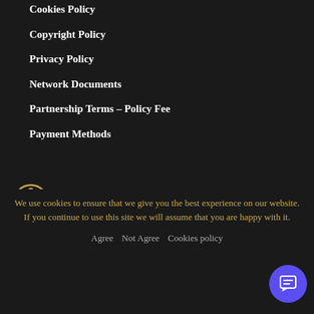Cookies Policy
Copyright Policy
Privacy Policy
Network Documents
Partnership Terms – Policy Fee
Payment Methods
[Figure (illustration): Accessibility wheelchair user icon inside a circle with tan/gold border on dark background]
Pay Online
We use cookies to ensure that we give you the best experience on our website. If you continue to use this site we will assume that you are happy with it.
Agree   Not Agree   Cookies policy